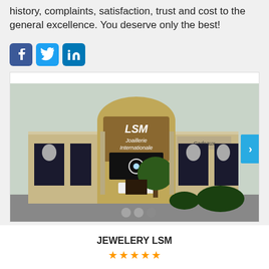history, complaints, satisfaction, trust and cost to the general excellence. You deserve only the best!
[Figure (logo): Social media icons: Facebook (blue), Twitter (light blue), LinkedIn (blue)]
[Figure (photo): Exterior photo of LSM Joaillerie Internationale (Cadeaux) store building at address 315, with decorative facade, large windows with jewelry display images, and a tree in front. Carousel with navigation arrow and three dot indicators.]
JEWELERY LSM
[Figure (other): Orange star rating (4 or 5 stars shown, partially visible)]